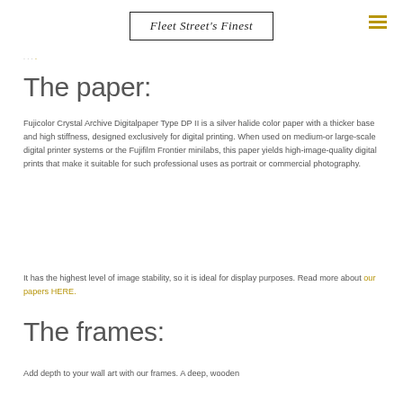Fleet Street's Finest
Home · Products · Print
The paper:
Fujicolor Crystal Archive Digitalpaper Type DP II is a silver halide color paper with a thicker base and high stiffness, designed exclusively for digital printing. When used on medium-or large-scale digital printer systems or the Fujifilm Frontier minilabs, this paper yields high-image-quality digital prints that make it suitable for such professional uses as portrait or commercial photography.
It has the highest level of image stability, so it is ideal for display purposes. Read more about our papers HERE.
The frames:
Add depth to your wall art with our frames. A deep, wooden...